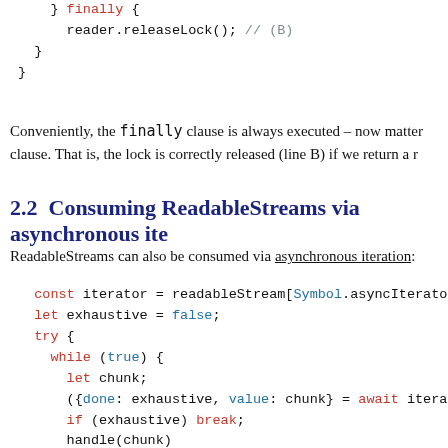} finally {
      reader.releaseLock(); // (B)
  }
}
Conveniently, the finally clause is always executed – now matter clause. That is, the lock is correctly released (line B) if we return a r
2.2  Consuming ReadableStreams via asynchronous ite
ReadableStreams can also be consumed via asynchronous iteration:
const iterator = readableStream[Symbol.asyncIterato
  let exhaustive = false;
  try {
    while (true) {
      let chunk;
      ({done: exhaustive, value: chunk} = await itera
      if (exhaustive) break;
      handle(chunk)